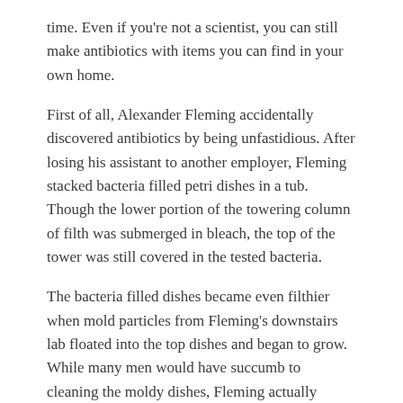time. Even if you're not a scientist, you can still make antibiotics with items you can find in your own home.
First of all, Alexander Fleming accidentally discovered antibiotics by being unfastidious. After losing his assistant to another employer, Fleming stacked bacteria filled petri dishes in a tub. Though the lower portion of the towering column of filth was submerged in bleach, the top of the tower was still covered in the tested bacteria.
The bacteria filled dishes became even filthier when mold particles from Fleming's downstairs lab floated into the top dishes and began to grow. While many men would have succumb to cleaning the moldy dishes, Fleming actually looked at them under the microscope. In one of the greatest  medical discoveries in history, Fleming found that the mold had killed the bacteria.